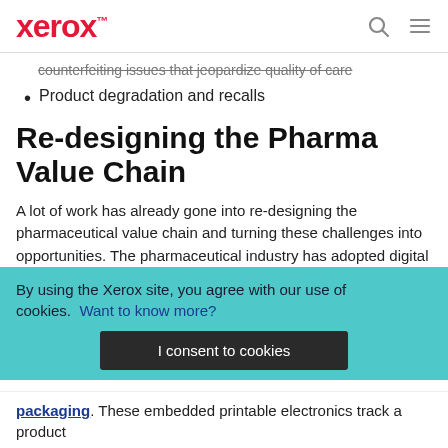xerox™
counterfeiting issues that jeopardize quality of care
Product degradation and recalls
Re-designing the Pharma Value Chain
A lot of work has already gone into re-designing the pharmaceutical value chain and turning these challenges into opportunities. The pharmaceutical industry has adopted digital technologies and implemented Industry 4.0 practices. Pharma has followed the aerospace and automotive sectors in leveraging big data, system integration, cloud, additive manufacturing, AR and IoT.
By using the Xerox site, you agree with our use of cookies. Want to know more?
I consent to cookies
packaging. These embedded printable electronics track a product